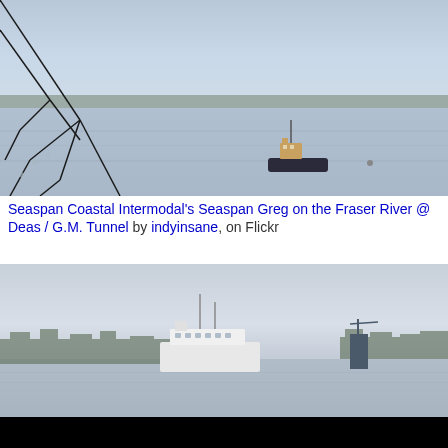[Figure (photo): A tugboat or small vessel on the Fraser River at dusk or dawn, with bare winter trees in the foreground and a wide river and distant treeline in the background. Muted blue-grey tones.]
Seaspan Coastal Intermodal's Seaspan Greg on the Fraser River @ Deas / G.M. Tunnel by indyinsane, on Flickr
[Figure (photo): A white vessel or ferry visible above a treeline, photographed across a body of water in winter. Pale blue-grey sky, bare trees, and muted tones.]